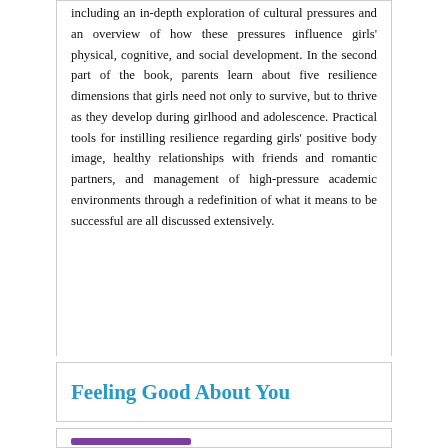including an in-depth exploration of cultural pressures and an overview of how these pressures influence girls' physical, cognitive, and social development. In the second part of the book, parents learn about five resilience dimensions that girls need not only to survive, but to thrive as they develop during girlhood and adolescence. Practical tools for instilling resilience regarding girls' positive body image, healthy relationships with friends and romantic partners, and management of high-pressure academic environments through a redefinition of what it means to be successful are all discussed extensively.
Feeling Good About You